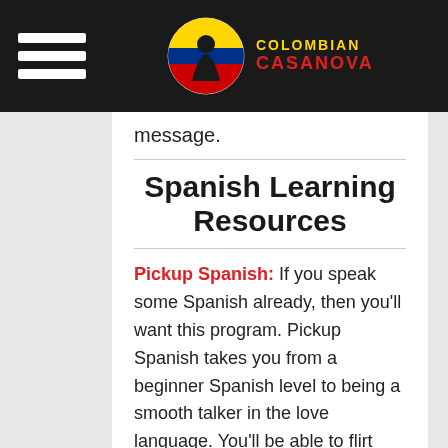Colombian Casanova
message.
Spanish Learning Resources
Pickup Spanish: If you speak some Spanish already, then you'll want this program. Pickup Spanish takes you from a beginner Spanish level to being a smooth talker in the love language. You'll be able to flirt within a month or two. You'll be speaking some smooth Spanish before you know it.